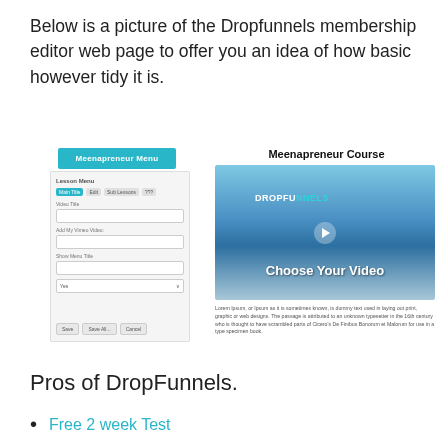Below is a picture of the Dropfunnels membership editor web page to offer you an idea of how basic however tidy it is.
[Figure (screenshot): Screenshot of the Dropfunnels membership editor web page showing a lesson menu panel on the left with a blue 'Meenapreneur Menu' bar, and on the right a 'Meenapreneur Course' section with a video thumbnail showing 'DROPFUNNELS Choose Your Video' and lorem ipsum text below.]
Pros of DropFunnels.
Free 2 week Test